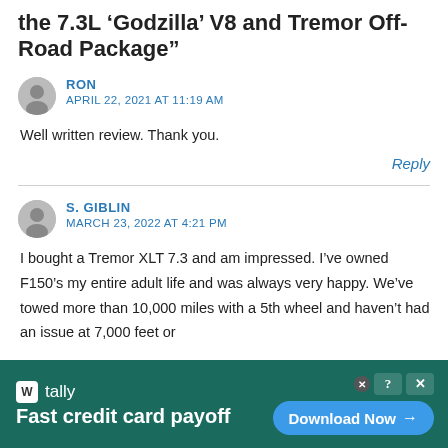the 7.3L ‘Godzilla’ V8 and Tremor Off-Road Package”
RON
APRIL 22, 2021 AT 11:19 AM
Well written review. Thank you.
Reply
S. GIBLIN
MARCH 23, 2022 AT 4:21 PM
I bought a Tremor XLT 7.3 and am impressed. I’ve owned F150’s my entire adult life and was always very happy. We’ve towed more than 10,000 miles with a 5th wheel and haven’t had an issue at 7,000 feet or
[Figure (screenshot): Tally app advertisement banner: dark teal background, Tally logo (white square with 'W' icon), text 'tally Fast credit card payoff', blue 'Download Now' button with arrow, close/help icons in top right.]